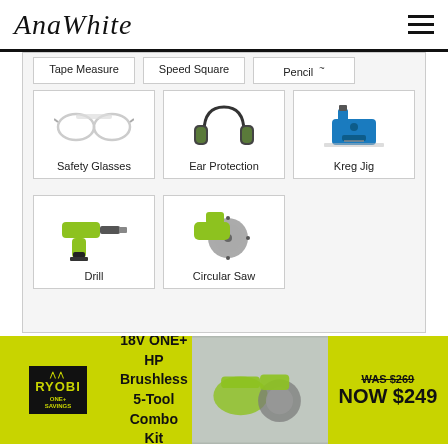AnaWhite
[Figure (screenshot): Tool selection grid showing: Tape Measure, Speed Square, Pencil (top row, partial), Safety Glasses, Ear Protection, Kreg Jig (middle row), Drill, Circular Saw (bottom row)]
[Figure (infographic): RYOBI advertisement banner: 18V ONE+ HP Brushless 5-Tool Combo Kit, WAS $269, NOW $249]